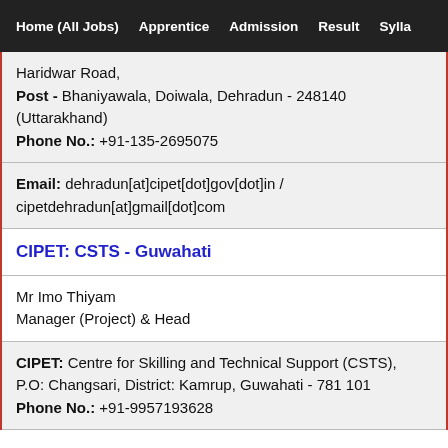Home (All Jobs)  Apprentice  Admission  Result  Sylla
Haridwar Road,
Post - Bhaniyawala, Doiwala, Dehradun - 248140 (Uttarakhand)
Phone No.: +91-135-2695075
Email: dehradun[at]cipet[dot]gov[dot]in / cipetdehradun[at]gmail[dot]com
CIPET: CSTS - Guwahati
Mr Imo Thiyam
Manager (Project) & Head
CIPET: Centre for Skilling and Technical Support (CSTS),
P.O: Changsari, District: Kamrup, Guwahati - 781 101
Phone No.: +91-9957193628